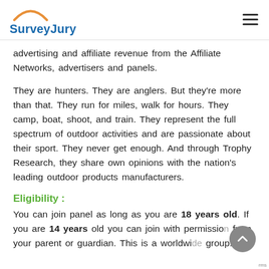SurveyJury
advertising and affiliate revenue from the Affiliate Networks, advertisers and panels.
They are hunters. They are anglers. But they're more than that. They run for miles, walk for hours. They camp, boat, shoot, and train. They represent the full spectrum of outdoor activities and are passionate about their sport. They never get enough. And through Trophy Research, they share own opinions with the nation's leading outdoor products manufacturers.
Eligibility :
You can join panel as long as you are 18 years old. If you are 14 years old you can join with permission from your parent or guardian. This is a worldwide group.